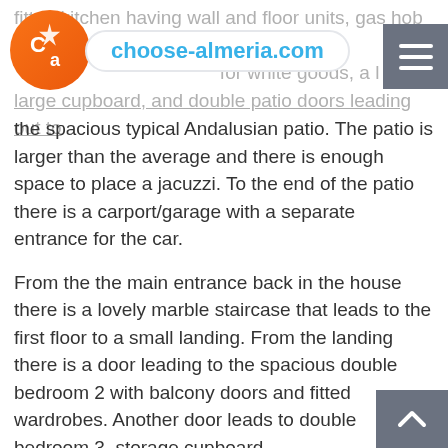choose-almeria.com
fitted kitchen having wall and floor units, gas hob with for white goods, a large cupboard, and double patio doors leading out to the spacious typical Andalusian patio. The patio is larger than the average and there is enough space to place a jacuzzi. To the end of the patio there is a carport/garage with a separate entrance for the car.
From the the main entrance back in the house there is a lovely marble staircase that leads to the first floor to a small landing. From the landing there is a door leading to the spacious double bedroom 2 with balcony doors and fitted wardrobes. Another door leads to double bedroom 3, storage cupboard.
The separate bathroom comprises a bath with shower over, WC, vanity unit with marble top and washhand basin. A door then leads to another double bedroom 4.
From the landing a patio door leads to the roof terrace where there is great space for the sun chairs and the